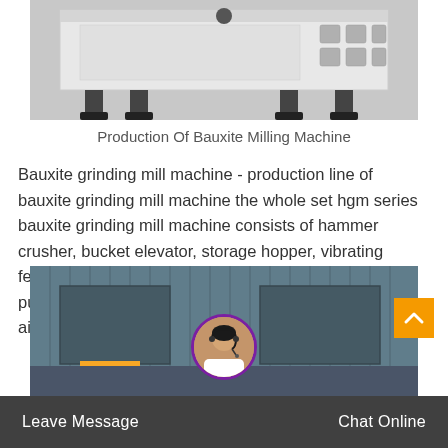[Figure (photo): White industrial bauxite milling machine unit with rectangular housing and legs, photographed outdoors]
Production Of Bauxite Milling Machine
Bauxite grinding mill machine - production line of bauxite grinding mill machine the whole set hgm series bauxite grinding mill machine consists of hammer crusher, bucket elevator, storage hopper, vibrating feeder, main unit, inverter classifier, cyclone collector, pulse deduster system, high pressure positive blower, air compressors and electrical control systems.
[Figure (photo): Industrial facility with blue corrugated metal walls, large doors, and yellow machinery visible at the bottom]
Leave Message
Chat Online